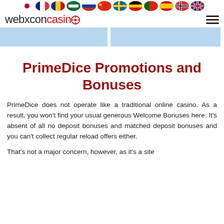webxconcasino [flags row] [hamburger menu]
[Figure (other): Two light blue rectangular panels side by side below the header navigation]
PrimeDice Promotions and Bonuses
PrimeDice does not operate like a traditional online casino. As a result, you won't find your usual generous Welcome Bonuses here. It's absent of all no deposit bonuses and matched deposit bonuses and you can't collect regular reload offers either.
That's not a major concern, however, as it's a site